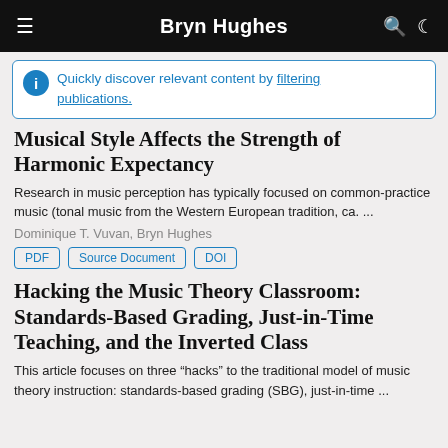Bryn Hughes
Quickly discover relevant content by filtering publications.
Musical Style Affects the Strength of Harmonic Expectancy
Research in music perception has typically focused on common-practice music (tonal music from the Western European tradition, ca. ...
Dominique T. Vuvan, Bryn Hughes
PDF  Source Document  DOI
Hacking the Music Theory Classroom: Standards-Based Grading, Just-in-Time Teaching, and the Inverted Class
This article focuses on three “hacks” to the traditional model of music theory instruction: standards-based grading (SBG), just-in-time ...